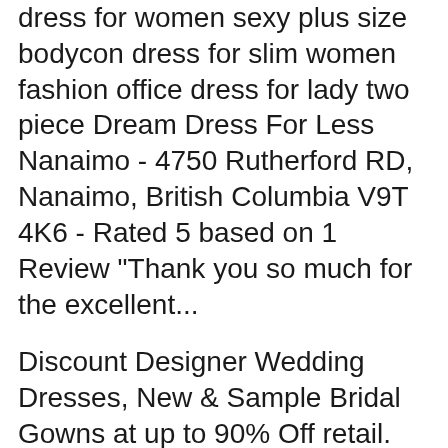dress for women sexy plus size bodycon dress for slim women fashion office dress for lady two piece Dream Dress For Less Nanaimo - 4750 Rutherford RD, Nanaimo, British Columbia V9T 4K6 - Rated 5 based on 1 Review "Thank you so much for the excellent...
Discount Designer Wedding Dresses, New & Sample Bridal Gowns at up to 90% Off retail. Award winning customer Service. No Risk Return Policy. The Bride's Closet - 279 Selby Street, Nanaimo, British Columbia V9R 2R2 - Rated 4.4 based on 80 Reviews "First of all, I am not the type to complain and...
.Prom, Pageant and Special Occasion